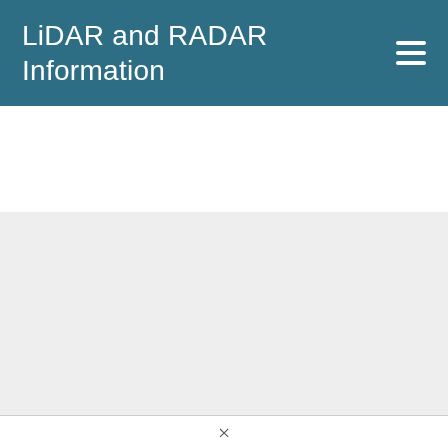LiDAR and RADAR Information
[Figure (other): Gray content area placeholder below the header banner]
×